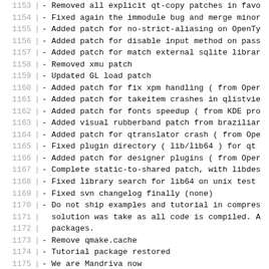1153 - Removed all explicit qt-copy patches in favo
1154 - Fixed again the immodule bug and merge minor
1155 - Added patch for no-strict-aliasing on OpenTy
1156 - Added patch for disable input method on pass
1157 - Added patch for match external sqlite librar
1158 - Removed xmu patch
1159 - Updated GL load patch
1160 - Added patch for fix xpm handling ( from Oper
1161 - Added patch for takeitem crashes in qlistvie
1162 - Added patch for fonts speedup ( from KDE pro
1163 - Added visual rubberband patch from braziliar
1164 - Added patch for qtranslator crash ( from Ope
1165 - Fixed plugin directory ( lib/lib64 ) for qt
1166 - Added patch for designer plugins ( from Oper
1167 - Complete static-to-shared patch, with libdes
1168 - Fixed library search for lib64 on unix test
1169 - Fixed svn changelog finally (none)
1170 - Do not ship examples and tutorial in compres
1171   solution was take as all code is compiled. A
1172   packages.
1173 - Remove qmake.cache
1174 - Tutorial package restored
1175 - We are Mandriva now
1176 - Put changelog back on spec since breakage on
1177   * Tue Oct 25 2005 Helio Chissini de Castro <
1178 - Fix immpatch to compile
1179 - Fix changelog merge
1180 - Fix immpatch to compile
1181 - Added libqassistant as shared. Some KDE apps
1182   kdevdesigner )